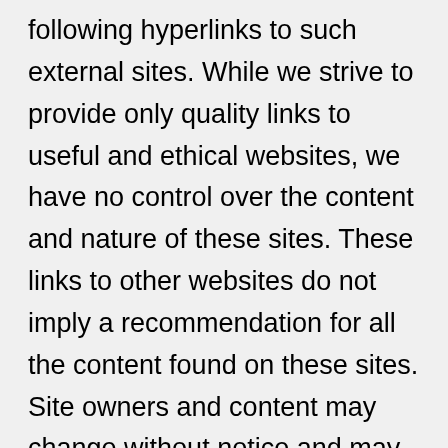following hyperlinks to such external sites. While we strive to provide only quality links to useful and ethical websites, we have no control over the content and nature of these sites. These links to other websites do not imply a recommendation for all the content found on these sites. Site owners and content may change without notice and may occur before we have the opportunity to remove a link which may have gone 'bad'. Please be also aware that when you leave our website, other sites may have different privacy policies and terms which are beyond our control. Please be sure to check the Privacy Policies of these sites as well as their "Terms of Service" before you engage in...